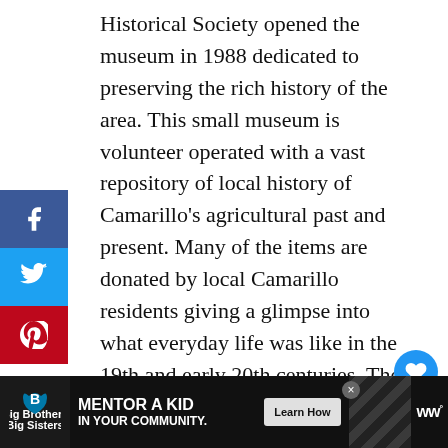Historical Society opened the museum in 1988 dedicated to preserving the rich history of the area. This small museum is volunteer operated with a vast repository of local history of Camarillo's agricultural past and present. Many of the items are donated by local Camarillo residents giving a glimpse into what everyday life was like in the 19th and early 20th centuries. The property also Includes a garden of indigenous plants co[mplete] with a gazebo. Address: 720 Las Posas
[Figure (other): Social media sidebar with Facebook (blue), Twitter (light blue), and Pinterest (red) share buttons]
[Figure (other): Heart (like/save) button — blue circle with white heart icon]
[Figure (other): Share button — light gray circle with share icon]
[Figure (other): What's Next box: thumbnail image, label 'WHAT'S NEXT →', text 'The Nixon Library | Enj...']
[Figure (other): Advertisement bar: Big Brothers Big Sisters logo, 'MENTOR A KID IN YOUR COMMUNITY.' text, 'Learn How' button, diagonal stripe pattern, 'ww' watermark]